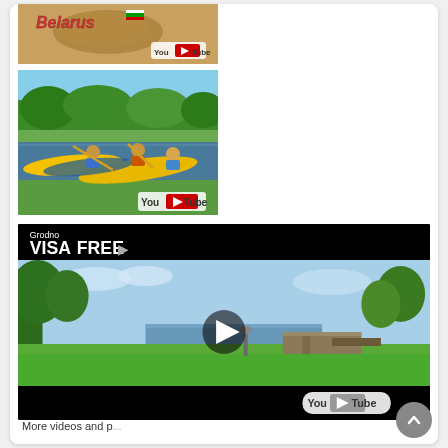[Figure (screenshot): YouTube thumbnail showing Belarus map graphic with golden/brown background and YouTube logo]
[Figure (screenshot): YouTube thumbnail showing people kayaking in yellow kayaks on a river with green trees, YouTube logo overlay]
[Figure (screenshot): Embedded YouTube video player showing Grodno VISAFREE scenic park/canal scene with play button, trees, water, and YouTube logo]
More videos and p...